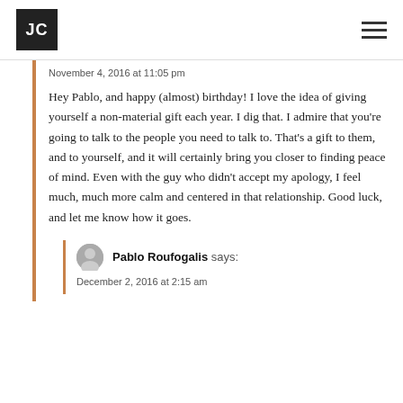JC
November 4, 2016 at 11:05 pm
Hey Pablo, and happy (almost) birthday! I love the idea of giving yourself a non-material gift each year. I dig that. I admire that you're going to talk to the people you need to talk to. That's a gift to them, and to yourself, and it will certainly bring you closer to finding peace of mind. Even with the guy who didn't accept my apology, I feel much, much more calm and centered in that relationship. Good luck, and let me know how it goes.
Pablo Roufogalis says:
December 2, 2016 at 2:15 am